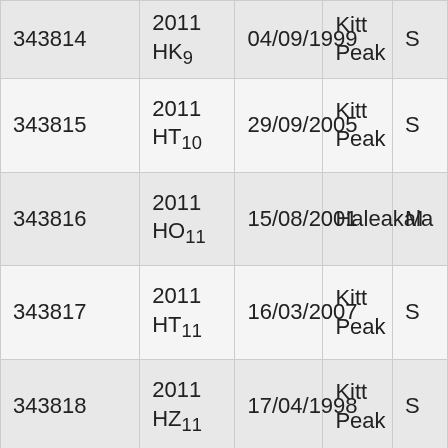| Number | Designation | Date | Observatory | ... |
| --- | --- | --- | --- | --- |
| 343814 | 2011 HK9 | 04/09/1999 | Kitt Peak | S |
| 343815 | 2011 HT10 | 29/09/2005 | Kitt Peak | S |
| 343816 | 2011 HO11 | 15/08/2001 | Haleakala | M |
| 343817 | 2011 HT11 | 16/03/2007 | Kitt Peak | S |
| 343818 | 2011 HZ11 | 17/04/1998 | Kitt Peak | S |
| 343819 | 2011 HU12 | 17/12/2009 | Mount Lemmon | M L S |
| 343820 | 2011 HV17 | 01/10/2002 | Socorro | L |